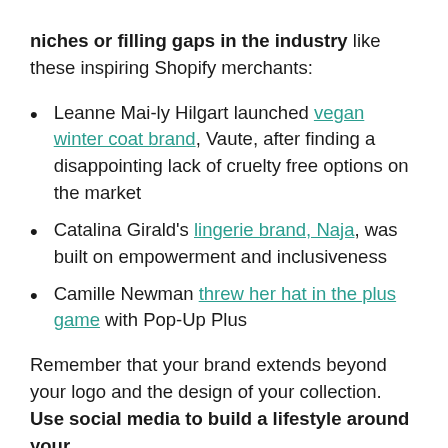niches or filling gaps in the industry like these inspiring Shopify merchants:
Leanne Mai-ly Hilgart launched vegan winter coat brand, Vaute, after finding a disappointing lack of cruelty free options on the market
Catalina Girald's lingerie brand, Naja, was built on empowerment and inclusiveness
Camille Newman threw her hat in the plus game with Pop-Up Plus
Remember that your brand extends beyond your logo and the design of your collection. Use social media to build a lifestyle around your